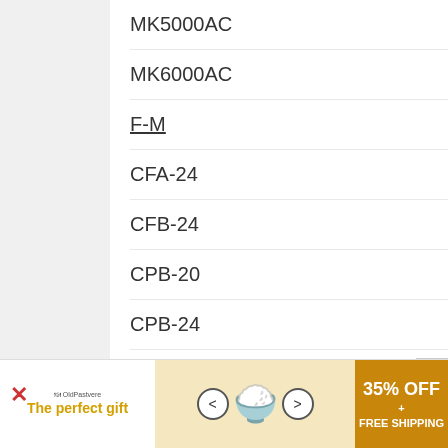MK5000AC
MK6000AC
F-M
CFA-24
CFB-24
CPB-20
CPB-24
ALCO
PA-3
FA-4
C428
C620
C624
[Figure (infographic): Advertisement banner: The perfect gift - 35% OFF + FREE SHIPPING with food bowl imagery and navigation arrows]